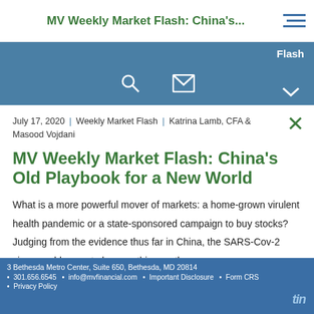MV Weekly Market Flash: China's...
Flash
July 17, 2020 | Weekly Market Flash | Katrina Lamb, CFA & Masood Vojdani
MV Weekly Market Flash: China's Old Playbook for a New World
What is a more powerful mover of markets: a home-grown virulent health pandemic or a state-sponsored campaign to buy stocks? Judging from the evidence thus far in China, the SARS-Cov-2 virus would seem to have nothing on the power
3 Bethesda Metro Center, Suite 650, Bethesda, MD 20814 • 301.656.6545 • info@mvfinancial.com • Important Disclosure • Form CRS • Privacy Policy